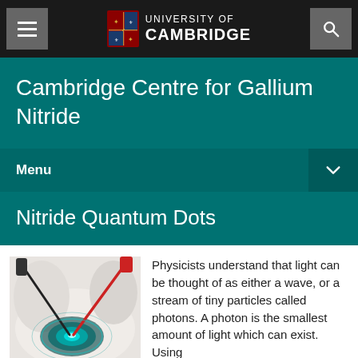University of Cambridge — Navigation header
Cambridge Centre for Gallium Nitride
Menu
Nitride Quantum Dots
[Figure (photo): Close-up photograph of a glowing teal/green light being emitted from a semiconductor device held by tweezers/probes on a white surface]
Physicists understand that light can be thought of as either a wave, or a stream of tiny particles called photons. A photon is the smallest amount of light which can exist. Using